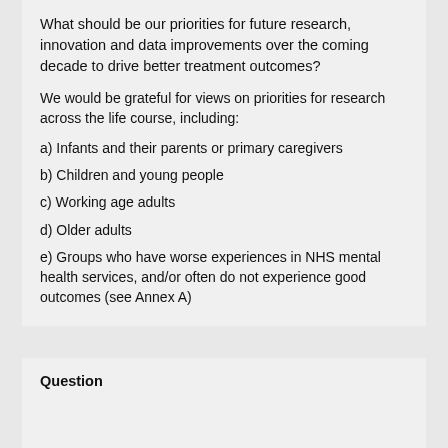What should be our priorities for future research, innovation and data improvements over the coming decade to drive better treatment outcomes?
We would be grateful for views on priorities for research across the life course, including:
a) Infants and their parents or primary caregivers
b) Children and young people
c) Working age adults
d) Older adults
e) Groups who have worse experiences in NHS mental health services, and/or often do not experience good outcomes (see Annex A)
Question